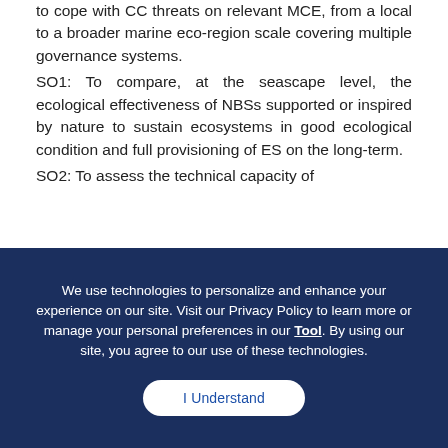to cope with CC threats on relevant MCE, from a local to a broader marine eco-region scale covering multiple governance systems.
SO1: To compare, at the seascape level, the ecological effectiveness of NBSs supported or inspired by nature to sustain ecosystems in good ecological condition and full provisioning of ES on the long-term.
SO2: To assess the technical capacity of
We use technologies to personalize and enhance your experience on our site. Visit our Privacy Policy to learn more or manage your personal preferences in our Tool. By using our site, you agree to our use of these technologies.
I Understand